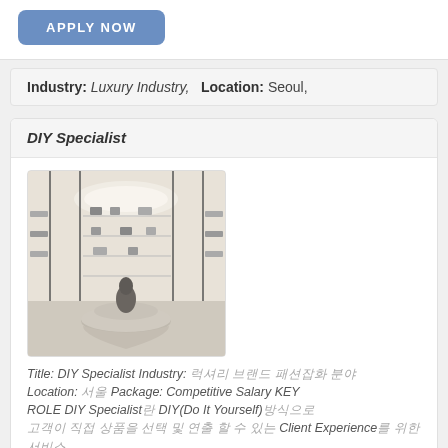[Figure (other): APPLY NOW button (blue rounded rectangle)]
Industry: Luxury Industry,  Location: Seoul,
DIY Specialist
[Figure (photo): Interior of a luxury retail store with shelves displaying accessories and a circular display pedestal in the center]
Title: DIY Specialist Industry: 럭셔리 브랜드 패션잡화 분야 Location: 서울 Package: Competitive Salary KEY ROLE DIY Specialist란 DIY(Do It Yourself)방식으로 고객이 직접 상품을 선택 및 연출 할 수 있는 Client Experience를 위한 서비스....
[Figure (other): APPLY NOW button (blue rounded rectangle) at bottom]